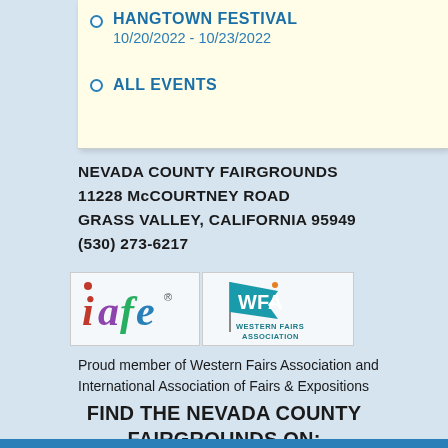HANGTOWN FESTIVAL
10/20/2022 - 10/23/2022
ALL EVENTS
NEVADA COUNTY FAIRGROUNDS
11228 McCOURTNEY ROAD
GRASS VALLEY, CALIFORNIA 95949
(530) 273-6217
[Figure (logo): IAFE and Western Fairs Association member logos side by side]
Proud member of Western Fairs Association and International Association of Fairs & Expositions
FIND THE NEVADA COUNTY FAIRGROUNDS ON: